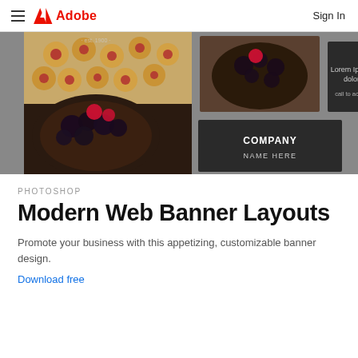Adobe  Sign In
[Figure (screenshot): Adobe Photoshop Modern Web Banner Layouts product preview image showing a bakery-themed web banner template with food photos (cookies, berry tart, pie), dark gray background panels, 'Lorem Ipsum dolor call to action' text overlay, and 'COMPANY NAME HERE' branding.]
PHOTOSHOP
Modern Web Banner Layouts
Promote your business with this appetizing, customizable banner design.
Download free